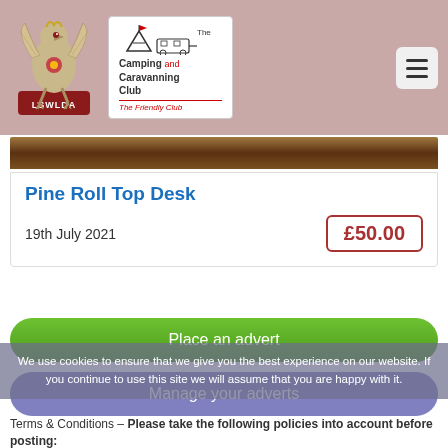[Figure (logo): LSWLDA griffin logo (red and gold heraldic bird) and The Camping and Caravanning Club logo on a dusty rose header bar]
Pine Roll Top Desk
19th July 2021
£50.00
Place an advert
Manage your adverts
We use cookies to ensure that we give you the best experience on our website. If you continue to use this site we will assume that you are happy with it.
Terms & Conditions – Please take the following policies into account before posting: